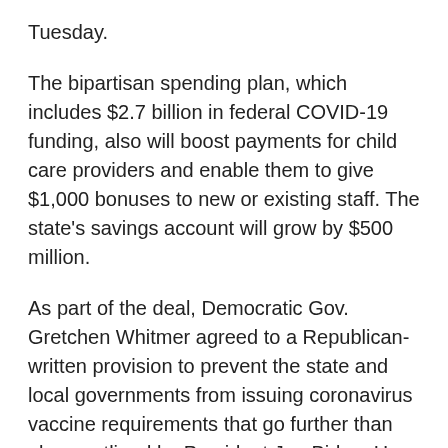Tuesday.
The bipartisan spending plan, which includes $2.7 billion in federal COVID-19 funding, also will boost payments for child care providers and enable them to give $1,000 bonuses to new or existing staff. The state's savings account will grow by $500 million.
As part of the deal, Democratic Gov. Gretchen Whitmer agreed to a Republican-written provision to prevent the state and local governments from issuing coronavirus vaccine requirements that go further than plans outlined by President Joe Biden. He recently said the federal government would mandate shots for many health care workers and require that employers with at least 100 employees force them to get vaccinated or be tested weekly.